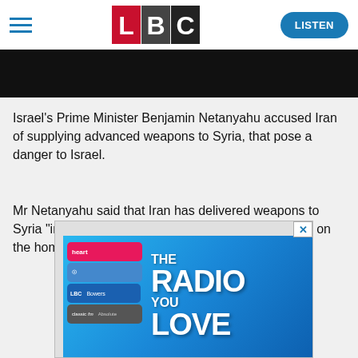LBC | LISTEN
[Figure (screenshot): Dark/black image banner at top of article]
Israel's Prime Minister Benjamin Netanyahu accused Iran of supplying advanced weapons to Syria, that pose a danger to Israel.
Mr Netanyahu said that Iran has delivered weapons to Syria "in order to attack us both on the battlefield and on the home front."
[Figure (illustration): Advertisement banner: THE RADIO YOU LOVE with phone showing radio apps (Heart, LBC, Bowers, Classic FM, Absolute Radio)]